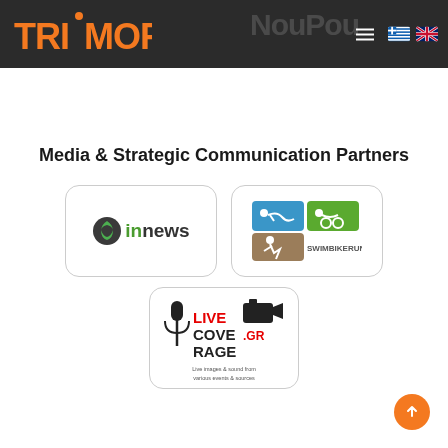TRIMORE — website header with logo, navigation hamburger, Greek and UK flags
Media & Strategic Communication Partners
[Figure (logo): innews logo — green circular leaf icon with 'in' in green and 'news' in dark text]
[Figure (logo): SwimBikeRun.gr logo — blue, green and brown tiles with swimmer, cyclist and runner icons, text SWIMBIKERUN.GR]
[Figure (logo): LiveCoverage.gr logo — microphone icon, LIVE in red and COVERAGE in black with .GR, tagline 'Live images & sound from various events & sources']